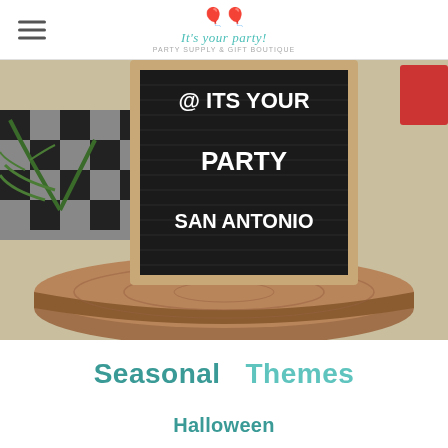It's your party! [logo with balloons]
[Figure (photo): A black letter board sign reading '@ ITS YOUR PARTY SAN ANTONIO' placed on a wooden stump, surrounded by plaid fabric and pine branches on a carpet background.]
Seasonal Themes
Halloween